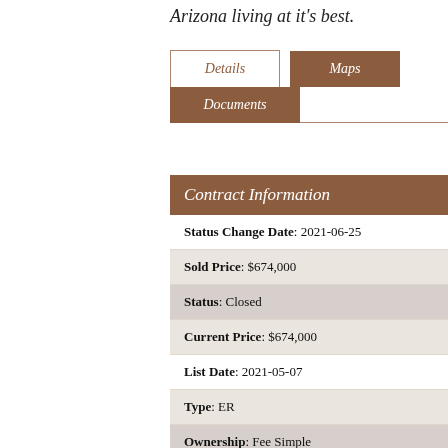Arizona living at it's best.
[Figure (other): Navigation tabs: Details, Maps, Documents]
| Field | Value |
| --- | --- |
| Status Change Date | 2021-06-25 |
| Sold Price | $674,000 |
| Status | Closed |
| Current Price | $674,000 |
| List Date | 2021-05-07 |
| Type | ER |
| Ownership | Fee Simple |
| Subagents | N |